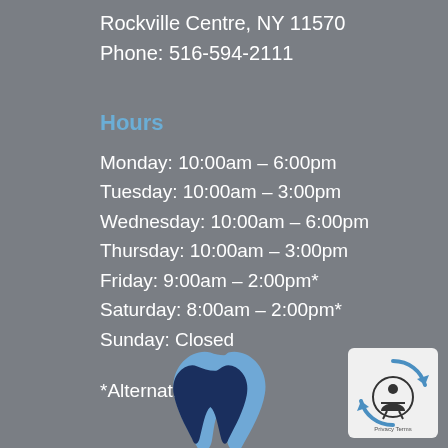Rockville Centre, NY 11570
Phone: 516-594-2111
Hours
Monday: 10:00am – 6:00pm
Tuesday: 10:00am – 3:00pm
Wednesday: 10:00am – 6:00pm
Thursday: 10:00am – 3:00pm
Friday: 9:00am – 2:00pm*
Saturday: 8:00am – 2:00pm*
Sunday: Closed
*Alternating
[Figure (logo): Tooth/dental logo in dark navy and light blue]
[Figure (logo): Privacy Terms accessibility badge with circular arrows and person icon]